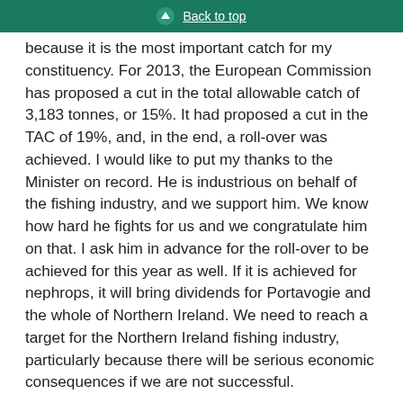Back to top
because it is the most important catch for my constituency. For 2013, the European Commission has proposed a cut in the total allowable catch of 3,183 tonnes, or 15%. It had proposed a cut in the TAC of 19%, and, in the end, a roll-over was achieved. I would like to put my thanks to the Minister on record. He is industrious on behalf of the fishing industry, and we support him. We know how hard he fights for us and we congratulate him on that. I ask him in advance for the roll-over to be achieved for this year as well. If it is achieved for nephrops, it will bring dividends for Portavogie and the whole of Northern Ireland. We need to reach a target for the Northern Ireland fishing industry, particularly because there will be serious economic consequences if we are not successful.